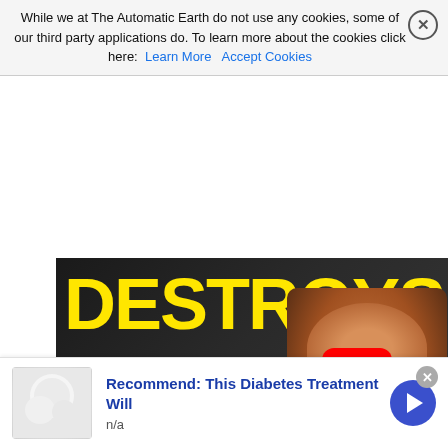While we at The Automatic Earth do not use any cookies, some of our third party applications do. To learn more about the cookies click here:  Learn More   Accept Cookies
[Figure (screenshot): YouTube video thumbnail with bold yellow text 'DESTROYS TYT SMEARS!' on black background with a man's face visible and a YouTube play button. Watch on YouTube bar at bottom.]
Recommend: This Diabetes Treatment Will
n/a